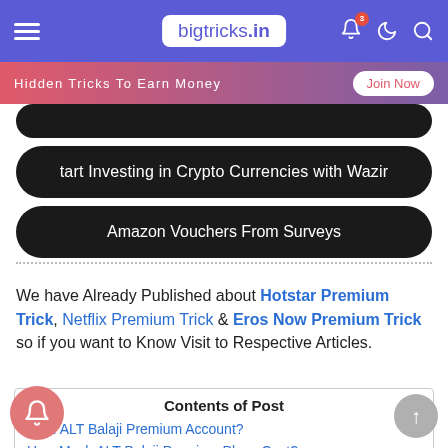bigtricks.in
Hidden Tricks To Earn Money
[Figure (screenshot): Dark pill-shaped card partially visible at top]
tart Investing in Crypto Currencies with Wazir
Amazon Vouchers From Surveys
We have Already Published about Hotstar Premium Trick, Netflix Premium Trick & Eros Now Premium Trick so if you want to Know Visit to Respective Articles.
Contents of Post
its of ALT Balaji Premium Account?
How Much ALT Balaji Premium Plans Cost?